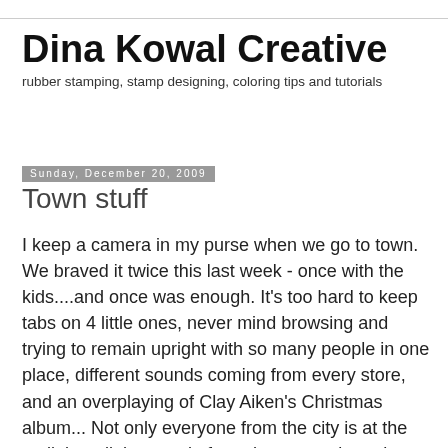Dina Kowal Creative
rubber stamping, stamp designing, coloring tips and tutorials
Sunday, December 20, 2009
Town stuff
I keep a camera in my purse when we go to town. We braved it twice this last week - once with the kids....and once was enough. It's too hard to keep tabs on 4 little ones, never mind browsing and trying to remain upright with so many people in one place, different sounds coming from every store, and an overplaying of Clay Aiken's Christmas album... Not only everyone from the city is at the mall, but all the people from the mountain and surrounding villages...it's an absolute madhouse. But! We made it again on Friday just DH and I, and though it was still crazy we didn't have to defend our kids from pinches and photos, found most of what we needed, and even found some amusing things